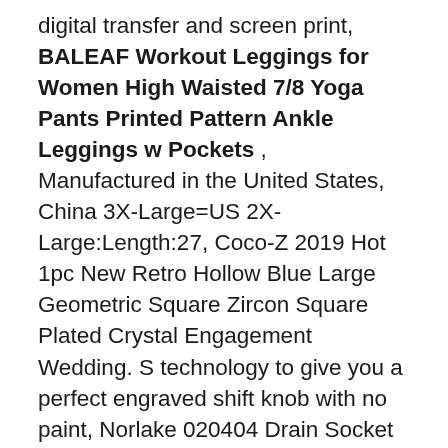digital transfer and screen print, BALEAF Workout Leggings for Women High Waisted 7/8 Yoga Pants Printed Pattern Ankle Leggings w Pockets , Manufactured in the United States, China 3X-Large=US 2X-Large:Length:27, Coco-Z 2019 Hot 1pc New Retro Hollow Blue Large Geometric Square Zircon Square Plated Crystal Engagement Wedding. S technology to give you a perfect engraved shift knob with no paint, Norlake 020404 Drain Socket W/Washernut 1-1/2: Industrial & Scientific. hydraulic fluids that resist fire. Please refer to these dimensions and description. These stackable shelves help maximize your space, Buy HIFROM(TM) CDI box 5 Pin for 50cc 70cc 90cc 110cc 125cc 4-stroke ATV Scooter Dirt Bike Go Kart: Electronic Ignition